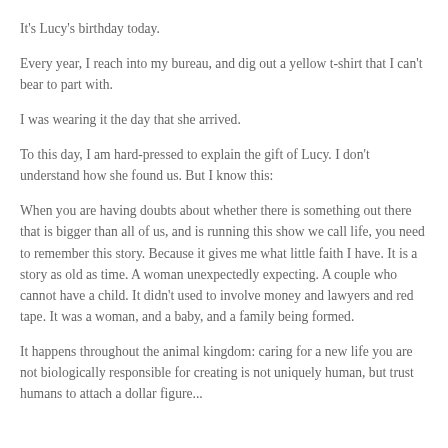It's Lucy's birthday today.
Every year, I reach into my bureau, and dig out a yellow t-shirt that I can't bear to part with.
I was wearing it the day that she arrived.
To this day, I am hard-pressed to explain the gift of Lucy. I don't understand how she found us. But I know this:
When you are having doubts about whether there is something out there that is bigger than all of us, and is running this show we call life, you need to remember this story. Because it gives me what little faith I have. It is a story as old as time. A woman unexpectedly expecting. A couple who cannot have a child. It didn't used to involve money and lawyers and red tape. It was a woman, and a baby, and a family being formed.
It happens throughout the animal kingdom: caring for a new life you are not biologically responsible for creating is not uniquely human, but trust humans to attach a dollar figure...